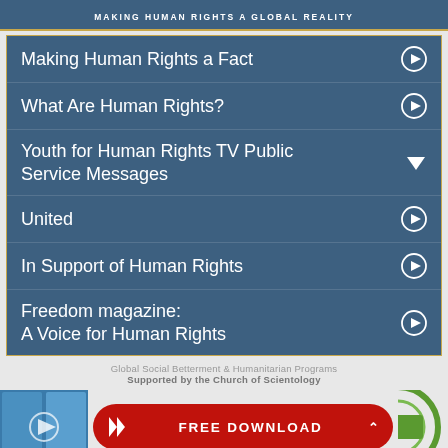MAKING HUMAN RIGHTS A GLOBAL REALITY
Making Human Rights a Fact
What Are Human Rights?
Youth for Human Rights TV Public Service Messages
United
In Support of Human Rights
Freedom magazine: A Voice for Human Rights
Global Social Betterment & Humanitarian Programs
Supported by the Church of Scientology
[Figure (screenshot): Thumbnail image showing group of people, video thumbnail]
[Figure (infographic): Red FREE DOWNLOAD button with arrow icon and caret]
[Figure (logo): Partial green circular logo on right edge]